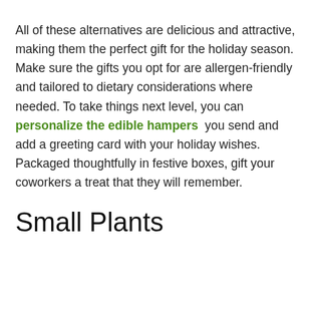All of these alternatives are delicious and attractive, making them the perfect gift for the holiday season. Make sure the gifts you opt for are allergen-friendly and tailored to dietary considerations where needed. To take things next level, you can personalize the edible hampers you send and add a greeting card with your holiday wishes. Packaged thoughtfully in festive boxes, gift your coworkers a treat that they will remember.
Small Plants